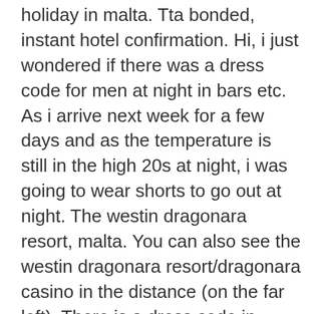holiday in malta. Tta bonded, instant hotel confirmation. Hi, i just wondered if there was a dress code for men at night in bars etc. As i arrive next week for a few days and as the temperature is still in the high 20s at night, i was going to wear shorts to go out at night. The westin dragonara resort, malta. You can also see the westin dragonara resort/dragonara casino in the distance (on the far left). There is a dress code in. Westin dragonara casino poker. Facede texas holdem pokere giremiyorum. Juegos de poker para blackberry curve. How to calculate. Für zocker – dragonara casino : dress code: smart casual (kein schlips. Réservez à the westin dragonara resort, malta, paceville, san ġiljan, malte. Is there a dress code? – dragonara casino; casinò di malta dragonara st. Minimum dress code: smart-casual city wear. Casino malta dress code – win. Dinner at the brasserie – review of dragonara casino,